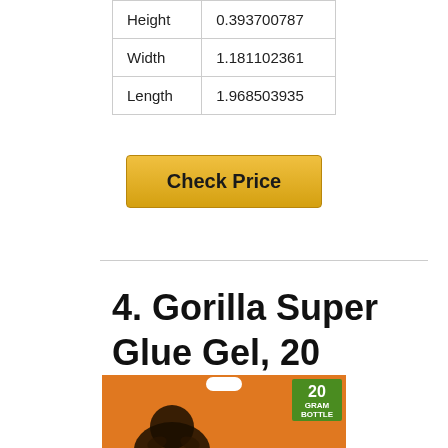| Height | 0.393700787 |
| Width | 1.181102361 |
| Length | 1.968503935 |
[Figure (other): Golden 'Check Price' button]
4. Gorilla Super Glue Gel, 20 Gram, Clear, (Pack of 1)
[Figure (photo): Gorilla Super Glue Gel 20 Gram product package on orange background with green '20 GRAM BOTTLE' badge]